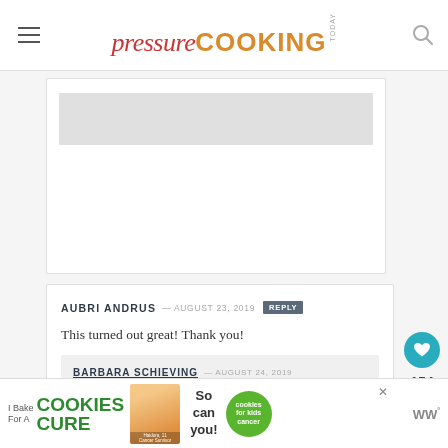pressure COOKING TODAY
[Figure (other): Advertisement placeholder gray box]
AUBRI ANDRUS — AUGUST 23, 2019 REPLY
This turned out great! Thank you!
BARBARA SCHIEVING — AUGUST 24, 2019 REPLY
Great – thanks Aubri!
[Figure (other): I Bake Cookies For A Cure banner ad with So can you! and cookies for kids cancer logo]